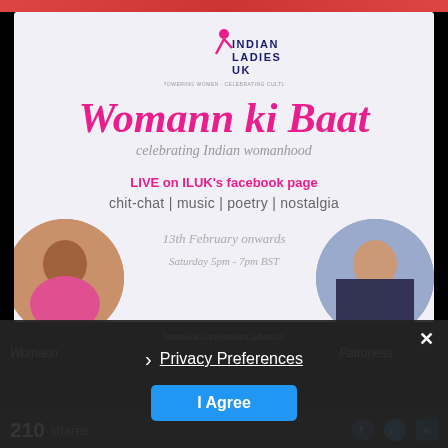[Figure (logo): Indian Ladies UK logo with stylized figure and text INDIAN LADIES UK]
Womann ki Baat
celebrating Indian womanhood
LIVE on ILUK's facebook page
chit-chat | music | poetry | nostalgia
[Figure (photo): Two circular portrait photos of women hosts on left and right sides]
13th February onwards
Saturday 5pm - 7pm BST
facebook.com/IndianLadiesUK
Privacy Preferences
I Agree
210 shares